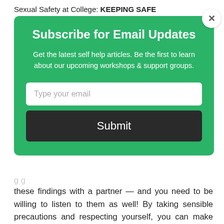Sexual Safety at College: KEEPING SAFE
Subscribe for Email Updates
Get the latest self help articles. Be the first to learn about our upcoming workshops & support groups.
these findings with a partner — and you need to be willing to listen to them as well! By taking sensible precautions and respecting yourself, you can make sure that your sexual experiences are positive, comfortable ones.